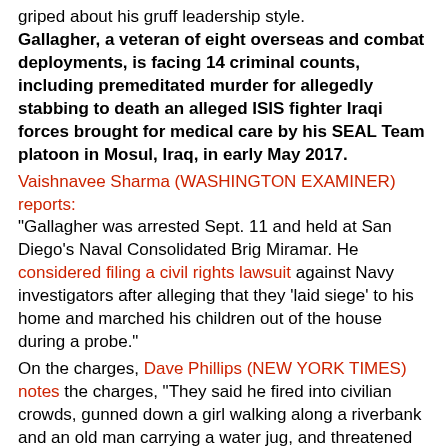griped about his gruff leadership style. Gallagher, a veteran of eight overseas and combat deployments, is facing 14 criminal counts, including premeditated murder for allegedly stabbing to death an alleged ISIS fighter Iraqi forces brought for medical care by his SEAL Team platoon in Mosul, Iraq, in early May 2017.
Vaishnavee Sharma (WASHINGTON EXAMINER) reports: "Gallagher was arrested Sept. 11 and held at San Diego's Naval Consolidated Brig Miramar. He considered filing a civil rights lawsuit against Navy investigators after alleging that they 'laid siege' to his home and marched his children out of the house during a probe."
On the charges, Dave Phillips (NEW YORK TIMES) notes the charges, "They said he fired into civilian crowds, gunned down a girl walking along a riverbank and an old man carrying a water jug, and threatened to kill fellow SEALs if they reported his actions."
If he is found guilty, he should be sentenced to the maximum.  He's not been found guilty and he remains innocent until/unless determined otherwise.  Equally true, if